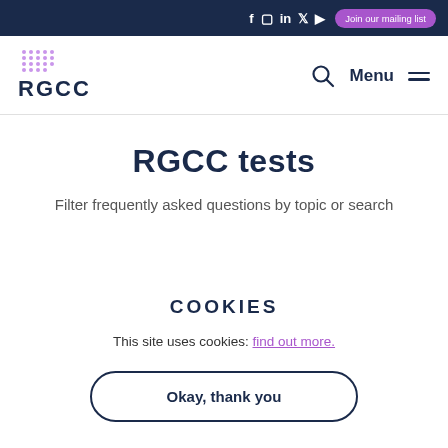RGCC — social icons and Join our mailing list button
[Figure (logo): RGCC logo with dot grid pattern above text 'RGCC' in dark navy]
RGCC tests
Filter frequently asked questions by topic or search
COOKIES
This site uses cookies: find out more.
Okay, thank you